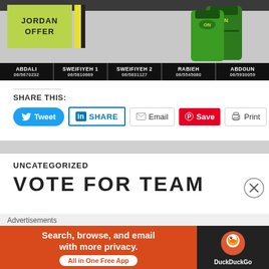[Figure (screenshot): Banner image showing Jordan Offer promotional banner with supplement bottles (green Optimum Nutrition containers) on gray background, with a yellow and black stripe accent]
JORDAN OFFER
ABDALI 06/5670232 | SWEIFIYEH1 06/5810669 | SWEIFIYEH2 06/5831127 | RABIEH 06/5545080 | ABDOUN 06/5930059
SHARE THIS:
Tweet | SHARE | Email | Save | Print
UNCATEGORIZED
VOTE FOR TEAM
Advertisements
Search, browse, and email with more privacy. All in One Free App